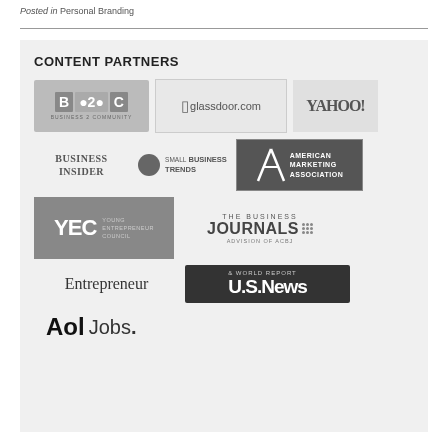Posted in Personal Branding
[Figure (infographic): Content Partners box showing logos of: Business 2 Community, Glassdoor.com, Yahoo!, Business Insider, Small Business Trends, American Marketing Association, YEC (Young Entrepreneur Council), The Business Journals, Entrepreneur, U.S. News & World Report, AOL Jobs]